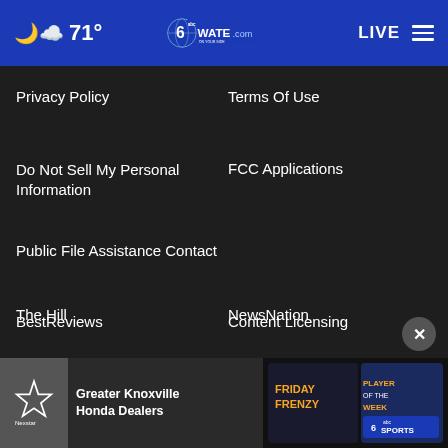71° WATE.com LIVE
Privacy Policy
Terms Of Use
Do Not Sell My Personal Information
FCC Applications
Public File Assistance Contact
The Hill
NewsNation
BestReviews
Content Licensing
Nexstar Digital
[Figure (screenshot): Advertisement banner for Greater Knoxville Honda Dealers featuring Friday Frenzy and Player of the Week WATE 6 ABC Sports]